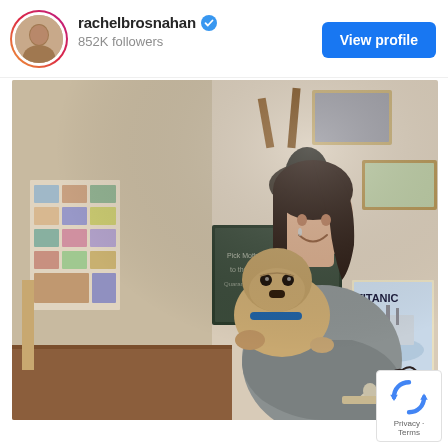rachelbrosnahan ✓ 852K followers
[Figure (photo): A woman with dark hair smiling and holding a pug dog in an indoor setting. Behind her are walls covered with photos, a chalkboard, and a Titanic poster. Items including decorative animal mount and metalwork are visible.]
[Figure (logo): Google reCAPTCHA badge showing the reCAPTCHA logo with Privacy - Terms text]